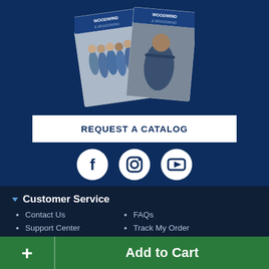[Figure (illustration): Two overlapping music store catalog covers showing bands/musicians, labeled Woodwind & Brasswind]
REQUEST A CATALOG
[Figure (illustration): Three social media icons in circular white buttons: Facebook, Instagram, YouTube]
Customer Service
Contact Us
FAQs
Support Center
Track My Order
Add to Cart